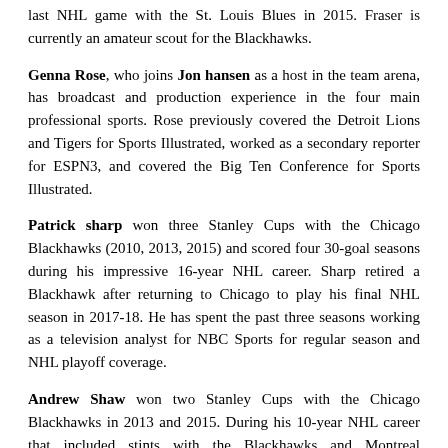last NHL game with the St. Louis Blues in 2015. Fraser is currently an amateur scout for the Blackhawks.
Genna Rose, who joins Jon hansen as a host in the team arena, has broadcast and production experience in the four main professional sports. Rose previously covered the Detroit Lions and Tigers for Sports Illustrated, worked as a secondary reporter for ESPN3, and covered the Big Ten Conference for Sports Illustrated.
Patrick sharp won three Stanley Cups with the Chicago Blackhawks (2010, 2013, 2015) and scored four 30-goal seasons during his impressive 16-year NHL career. Sharp retired a Blackhawk after returning to Chicago to play his final NHL season in 2017-18. He has spent the past three seasons working as a television analyst for NBC Sports for regular season and NHL playoff coverage.
Andrew Shaw won two Stanley Cups with the Chicago Blackhawks in 2013 and 2015. During his 10-year NHL career that included stints with the Blackhawks and Montreal Canadiens, Shaw scored 116 goals and 247 points and was scarred 573 penalty minutes in 544 games. He announced his retirement from hockey in April 2021.